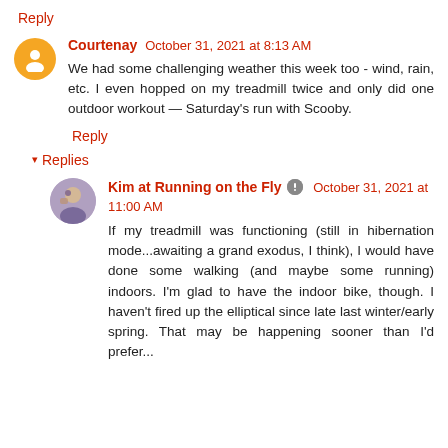Reply
Courtenay October 31, 2021 at 8:13 AM
We had some challenging weather this week too - wind, rain, etc. I even hopped on my treadmill twice and only did one outdoor workout — Saturday's run with Scooby.
Reply
Replies
Kim at Running on the Fly October 31, 2021 at 11:00 AM
If my treadmill was functioning (still in hibernation mode...awaiting a grand exodus, I think), I would have done some walking (and maybe some running) indoors. I'm glad to have the indoor bike, though. I haven't fired up the elliptical since late last winter/early spring. That may be happening sooner than I'd prefer...